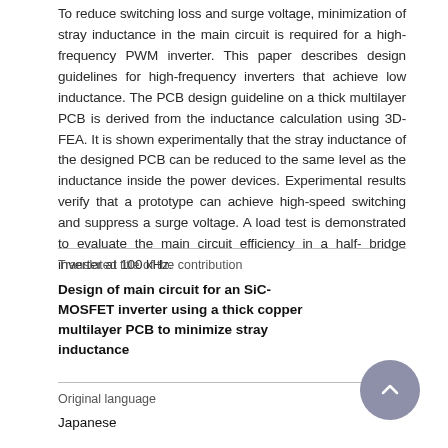To reduce switching loss and surge voltage, minimization of stray inductance in the main circuit is required for a high-frequency PWM inverter. This paper describes design guidelines for high-frequency inverters that achieve low inductance. The PCB design guideline on a thick multilayer PCB is derived from the inductance calculation using 3D-FEA. It is shown experimentally that the stray inductance of the designed PCB can be reduced to the same level as the inductance inside the power devices. Experimental results verify that a prototype can achieve high-speed switching and suppress a surge voltage. A load test is demonstrated to evaluate the main circuit efficiency in a half-bridge inverter at 100 kHz.
Translated title of the contribution
Design of main circuit for an SiC-MOSFET inverter using a thick copper multilayer PCB to minimize stray inductance
Original language
Japanese